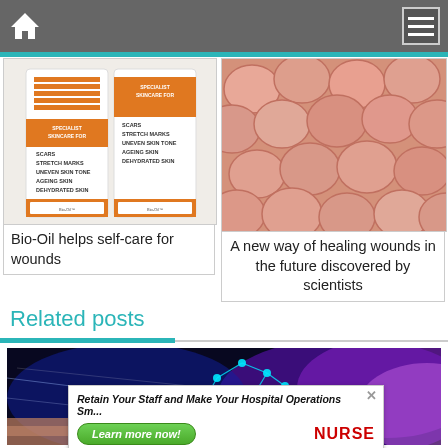[Figure (screenshot): Website navigation bar with home icon and hamburger menu icon on dark gray background]
[Figure (photo): Bio-Oil skincare product packaging showing specialist skincare for scars, stretch marks, uneven skin tone, ageing skin, dehydrated skin]
Bio-Oil helps self-care for wounds
[Figure (photo): Close-up microscopic view of pink hexagonal cells, illustrating wound healing research]
A new way of healing wounds in the future discovered by scientists
Related posts
[Figure (photo): Dark background with glowing blue and purple lights and molecular structure graphic]
Retain Your Staff and Make Your Hospital Operations Sm...
Learn more now!
NURSE